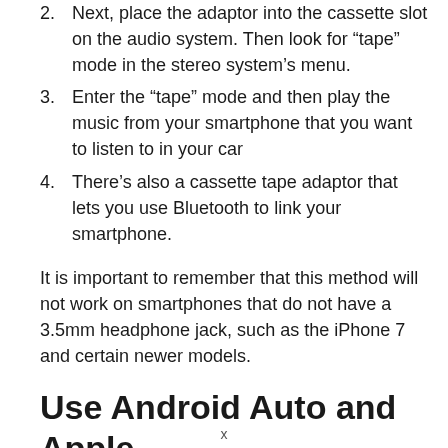2. Next, place the adaptor into the cassette slot on the audio system. Then look for “tape” mode in the stereo system’s menu.
3. Enter the “tape” mode and then play the music from your smartphone that you want to listen to in your car
4. There’s also a cassette tape adaptor that lets you use Bluetooth to link your smartphone.
It is important to remember that this method will not work on smartphones that do not have a 3.5mm headphone jack, such as the iPhone 7 and certain newer models.
Use Android Auto and Apple
x